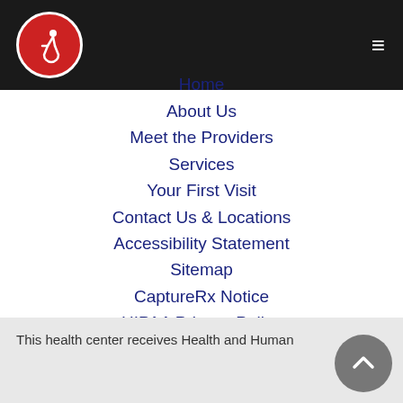[Figure (logo): Accessibility icon in white on red circle inside dark header bar with hamburger menu icon]
Home
About Us
Meet the Providers
Services
Your First Visit
Contact Us & Locations
Accessibility Statement
Sitemap
CaptureRx Notice
HIPAA Privacy Policy
This health center receives Health and Human